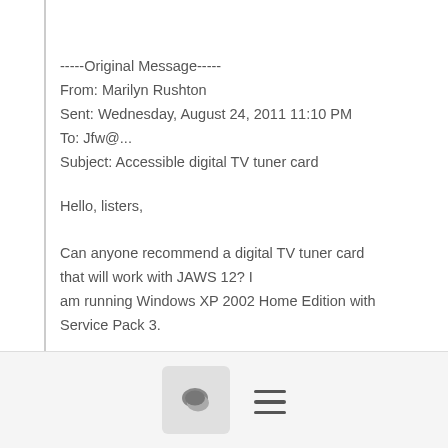-----Original Message-----
From: Marilyn Rushton
Sent: Wednesday, August 24, 2011 11:10 PM
To: Jfw@...
Subject: Accessible digital TV tuner card
Hello, listers,

Can anyone recommend a digital TV tuner card that will work with JAWS 12? I am running Windows XP 2002 Home Edition with Service Pack 3.

With thanks,

Marilyn in Canada.
[Figure (other): Bottom toolbar with a chat/comment bubble icon button and a hamburger menu icon]